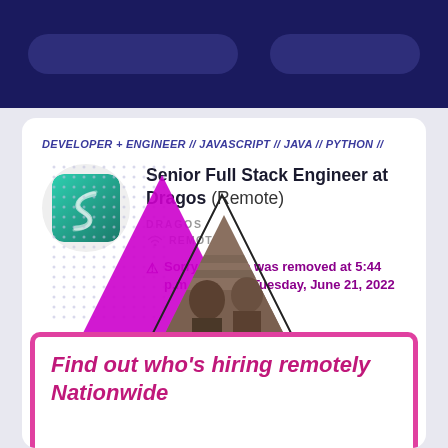DEVELOPER + ENGINEER // JAVASCRIPT // JAVA // PYTHON //
[Figure (logo): Dragos company logo - teal/green square with rounded corners showing a stylized S shape]
Senior Full Stack Engineer at Dragos (Remote)
DRAGOS
REMOTE
Sorry, this job was removed at 5:44 p.m. (CST) on Tuesday, June 21, 2022
[Figure (illustration): Decorative triangles (purple/magenta) overlapping with a photo of people working, arranged in a collage style]
Find out who's hiring remotely Nationwide